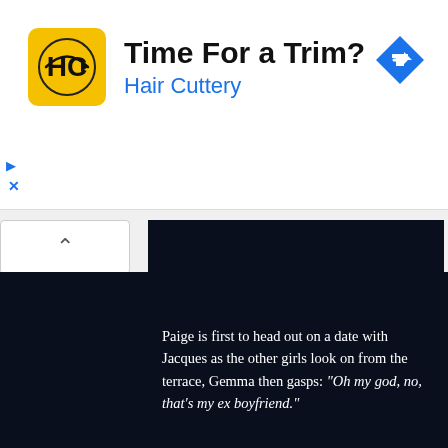[Figure (screenshot): Advertisement banner for Hair Cuttery featuring yellow logo with HC monogram, bold title 'Time For a Trim?', subtitle 'Hair Cuttery' in blue, and a blue diamond navigation arrow icon on the right.]
[Figure (screenshot): Dark navy/black panel showing a TV show caption text: 'Paige is first to head out on a date with Jacques as the other girls look on from the terrace, Gemma then gasps: "Oh my god, no, that's my ex boyfriend."']
Paige is first to head out on a date with Jacques as the other girls look on from the terrace, Gemma then gasps: “Oh my god, no, that’s my ex boyfriend.”